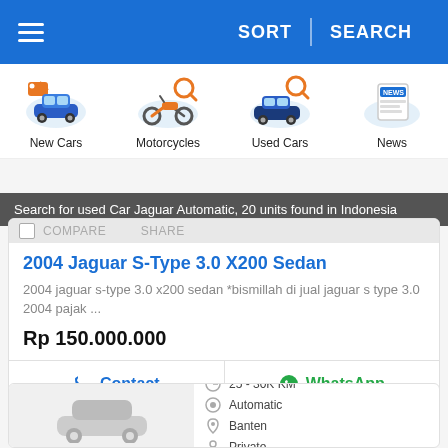SORT | SEARCH
[Figure (illustration): Category icons: New Cars, Motorcycles, Used Cars, News]
Search for used Car Jaguar Automatic, 20 units found in Indonesia
2004 Jaguar S-Type 3.0 X200 Sedan
2004 jaguar s-type 3.0 x200 sedan *bismillah di jual jaguar s type 3.0 2004 pajak ...
Rp 150.000.000
Contact | WhatsApp
25 - 30K KM
Automatic
Banten
Private